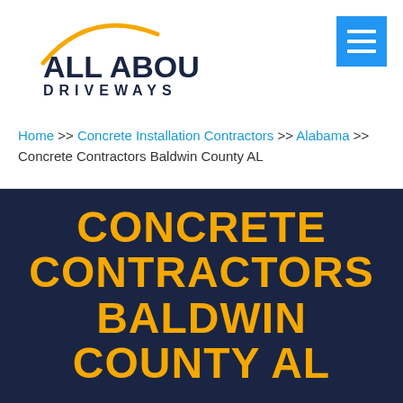[Figure (logo): All About Driveways logo with golden arc above 'ALL ABOUT' in dark blue bold text and 'DRIVEWAYS' in dark blue spaced text below]
[Figure (other): Blue square hamburger menu button with three white horizontal lines]
Home >> Concrete Installation Contractors >> Alabama >> Concrete Contractors Baldwin County AL
CONCRETE CONTRACTORS BALDWIN COUNTY AL
Request A FREE Estimate From Our